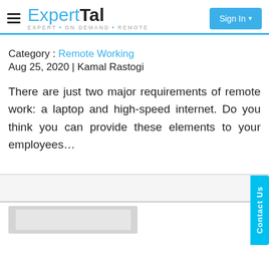ExpertTal — EXPERT • ON DEMAND • REMOTE — Sign In
Category : Remote Working
Aug 25, 2020 | Kamal Rastogi
There are just two major requirements of remote work: a laptop and high-speed internet. Do you think you can provide these elements to your employees...